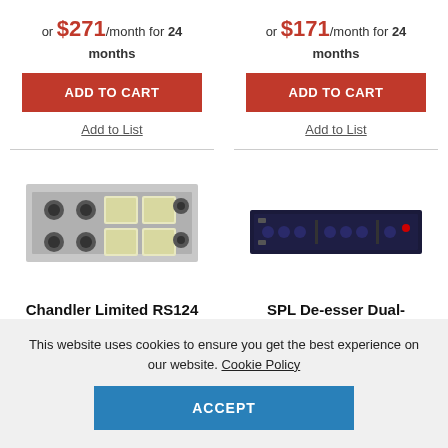or $271/month for 24 months
or $171/month for 24 months
ADD TO CART
ADD TO CART
Add to List
Add to List
[Figure (photo): Chandler Limited RS124 Compressor hardware unit, front panel view with knobs and VU meters, grey/silver color]
[Figure (photo): SPL De-esser Dual-Channel Dynamic processor, front panel view, dark blue/black rack unit]
Chandler Limited RS124 Compressor-
SPL De-esser Dual-Channel Dynamic
This website uses cookies to ensure you get the best experience on our website. Cookie Policy
ACCEPT